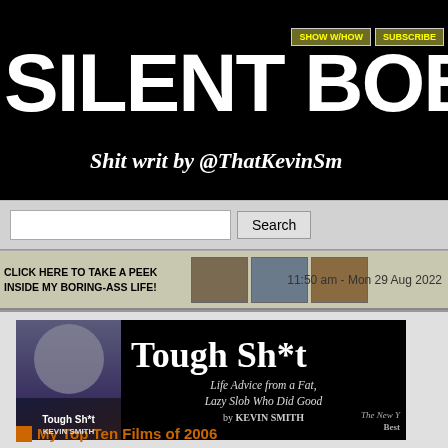SILENT BOB SPEA
Shit writ by @ThatKevinSm
[Figure (screenshot): Navigation buttons in header area]
[Figure (screenshot): Search bar with input field and Search button on gray background]
[Figure (photo): Strip with text CLICK HERE TO TAKE A PEEK INSIDE MY BORING-ASS LIFE! with three thumbnail photos and timestamp 11:50 am - Mon 29 Aug 2022]
[Figure (illustration): Book advertisement banner for Tough Sh*t: Life Advice from a Fat, Lazy Slob Who Did Good by Kevin Smith, with book cover image showing Kevin Smith's face]
My Top Ten Films of 2006